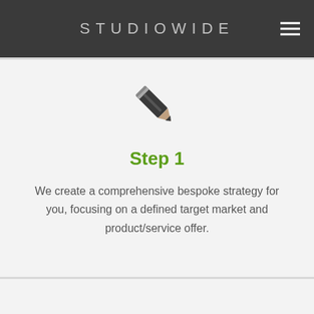STUDIOWIDE
[Figure (illustration): Pencil icon, dark gray, pointing upper-right]
Step 1
We create a comprehensive bespoke strategy for you, focusing on a defined target market and product/service offer.